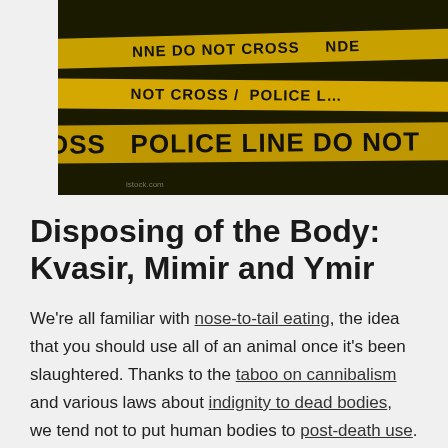[Figure (photo): Police crime scene tape reading 'DO NOT CROSS POLICE LINE DO NOT' in black text on yellow background against a dark/black background]
Disposing of the Body: Kvasir, Mimir and Ymir
We're all familiar with nose-to-tail eating, the idea that you should use all of an animal once it's been slaughtered. Thanks to the taboo on cannibalism and various laws about indignity to dead bodies, we tend not to put human bodies to post-death use. Gods, however, are not so squeamish. The Norse